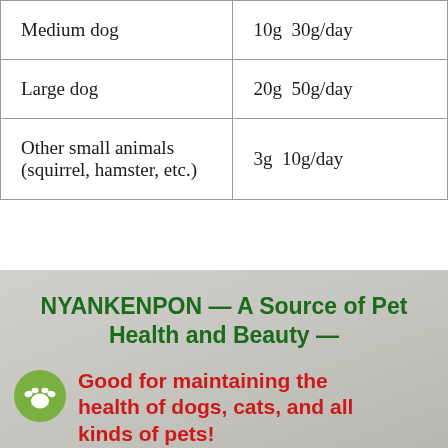| Animal | Dosage |
| --- | --- |
| Medium dog | 10g  30g/day |
| Large dog | 20g  50g/day |
| Other small animals (squirrel, hamster, etc.) | 3g  10g/day |
NYANKENPON — A Source of Pet Health and Beauty —
Good for maintaining the health of dogs, cats, and all kinds of pets!